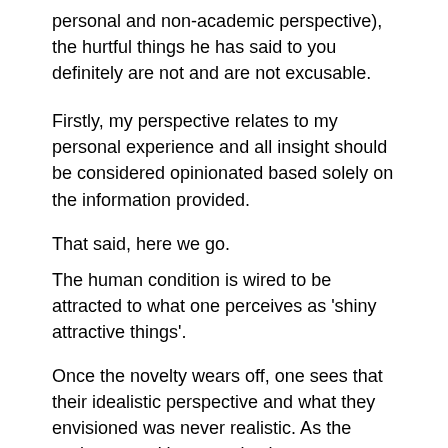personal and non-academic perspective), the hurtful things he has said to you definitely are not and are not excusable.
Firstly, my perspective relates to my personal experience and all insight should be considered opinionated based solely on the information provided.
That said, here we go.
The human condition is wired to be attracted to what one perceives as 'shiny attractive things'.
Once the novelty wears off, one sees that their idealistic perspective and what they envisioned was never realistic. As the saying goes, 'the grass is always greener on the other side'.